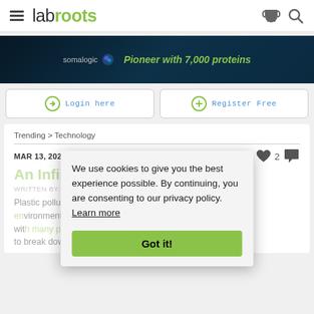labroots
[Figure (screenshot): Somalogic advertisement banner: dark background with text 'Pioneer with 7,000 proteins' and somalogic logo]
Login here
Register Free
Trending > Technology
MAR 13, 2022 10:00 AM PDT
An Infinitely Recyclable Plastic
WRITTEN BY:
Plastic pollution is one of the most pressing environmental issues we face. The chief problem with many plastics is that they take a very long time to break down — some plastics can take hundreds of
We use cookies to give you the best experience possible. By continuing, you are consenting to our privacy policy. Learn more
Got it!